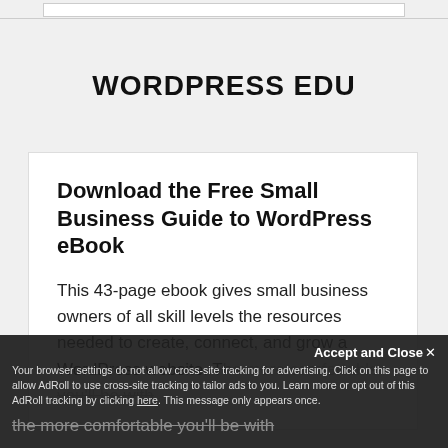WORDPRESS EDU
Download the Free Small Business Guide to WordPress eBook
This 43-page ebook gives small business owners of all skill levels the resources needed to create, connect, and grow a WordPress website. The more comfortable you'll be with
Accept and Close
Your browser settings do not allow cross-site tracking for advertising. Click on this page to allow AdRoll to use cross-site tracking to tailor ads to you. Learn more or opt out of this AdRoll tracking by clicking here. This message only appears once.